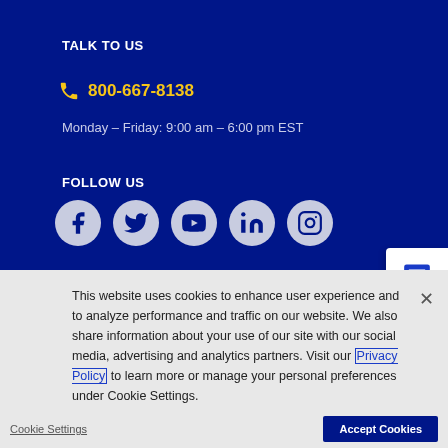TALK TO US
800-667-8138
Monday – Friday: 9:00 am – 6:00 pm EST
FOLLOW US
[Figure (infographic): Five social media icons: Facebook, Twitter, YouTube, LinkedIn, Instagram — circular gray buttons on dark blue background]
[Figure (infographic): Chat button widget — white rounded rectangle with chat bubble icon and 'Chat' label]
This website uses cookies to enhance user experience and to analyze performance and traffic on our website. We also share information about your use of our site with our social media, advertising and analytics partners. Visit our Privacy Policy to learn more or manage your personal preferences under Cookie Settings.